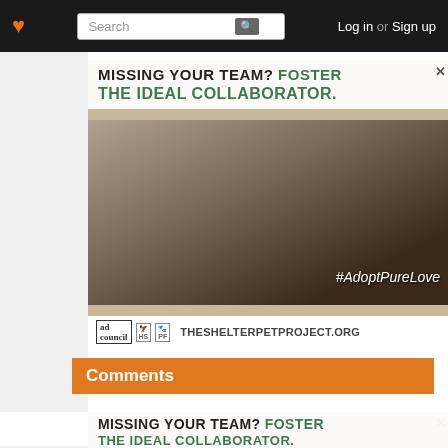♥ | Search | Log in or Sign up
[Figure (photo): Advertisement showing a man with a tabby cat near a window. Text overlay reads: MISSING YOUR TEAM? FOSTER THE IDEAL COLLABORATOR. #AdoptPureLove. Footer: THESHELTERPETPROJECT.ORG]
Comments
[Figure (photo): Partial repeat of the same advertisement at bottom of page: MISSING YOUR TEAM? FOSTER THE IDEAL COLLABORATOR. (cropped)]